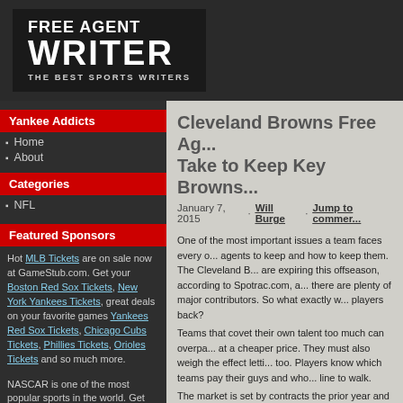[Figure (logo): Free Agent Writer logo — black background box with bold white text reading FREE AGENT WRITER, THE BEST SPORTS WRITERS]
Yankee Addicts
Home
About
Categories
NFL
Featured Sponsors
Hot MLB Tickets are on sale now at GameStub.com. Get your Boston Red Sox Tickets, New York Yankees Tickets, great deals on your favorite games Yankees Red Sox Tickets, Chicago Cubs Tickets, Phillies Tickets, Orioles Tickets and so much more.
NASCAR is one of the most popular sports in the world. Get your NASCAR Tickets and famous Daytona
Cleveland Browns Free Ag... Take to Keep Key Browns...
January 7, 2015 · Will Burge · Jump to commer...
One of the most important issues a team faces every o... agents to keep and how to keep them. The Cleveland B... are expiring this offseason, according to Spotrac.com, a... there are plenty of major contributors. So what exactly w... players back?
Teams that covet their own talent too much can overpa... at a cheaper price. They must also weigh the effect letti... too. Players know which teams pay their guys and who... line to walk.
The market is set by contracts the prior year and compa... care about what is on the film as much as they care ab... will do everything they can to minimize what the numbe...
Read Complete Article at Bleacher Report - NFL
Article is property of BleacherReport.com